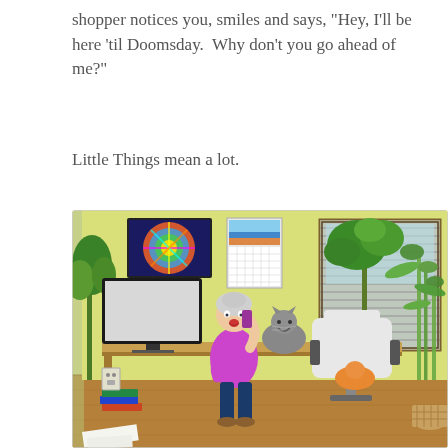shopper notices you, smiles and says, "Hey, I'll be here 'til Doomsday.  Why don't you go ahead of me?"
Little Things mean a lot.
[Figure (illustration): Animated/cartoon illustration of an older woman with gray hair in a purple shirt and dark pants, standing in a home office room talking on a phone. A gray cat sits on the desk behind her. There is a large monitor on the desk, a white office chair with an orange cat sitting on it, books stacked on the floor, plants, a window with blinds, a calendar on the wall, and colorful wall art.]